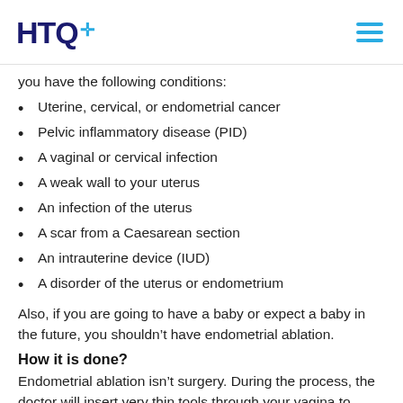HTQ+
you have the following conditions:
Uterine, cervical, or endometrial cancer
Pelvic inflammatory disease (PID)
A vaginal or cervical infection
A weak wall to your uterus
An infection of the uterus
A scar from a Caesarean section
An intrauterine device (IUD)
A disorder of the uterus or endometrium
Also, if you are going to have a baby or expect a baby in the future, you shouldn’t have endometrial ablation.
How it is done?
Endometrial ablation isn’t surgery. During the process, the doctor will insert very thin tools through your vagina to reach your uterus. The types will